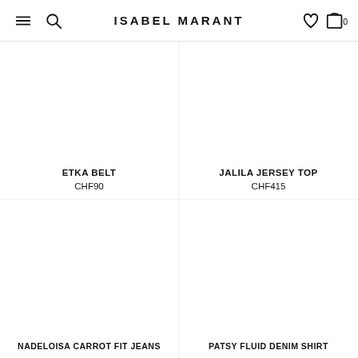ISABEL MARANT
ETKA BELT
CHF90
JALILA JERSEY TOP
CHF415
NADELOISA CARROT FIT JEANS
PATSY FLUID DENIM SHIRT